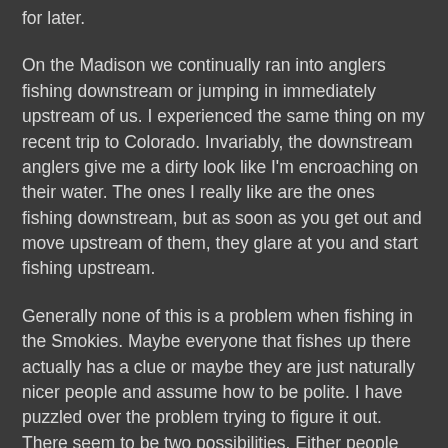for later.
On the Madison we continually ran into anglers fishing downstream or jumping in immediately upstream of us. I experienced the same thing on my recent trip to Colorado. Invariably, the downstream anglers give me a dirty look like I'm encroaching on their water. The ones I really like are the ones fishing downstream, but as soon as you get out and move upstream of them, they glare at you and start fishing upstream.
Generally none of this is a problem when fishing in the Smokies. Maybe everyone that fishes up there actually has a clue or maybe they are just naturally nicer people and assume how to be polite. I have puzzled over the problem trying to figure it out. There seem to be two possibilities. Either people just don't know and no one is explaining proper etiquette to them or they just don't give a damn. I have a hard time believing the first explanation. Tradition is such a large part of the sport that it would be difficult for the majority of fly fisherman to never hear the general guidelines that make up standard etiquette. The other explanation seems a